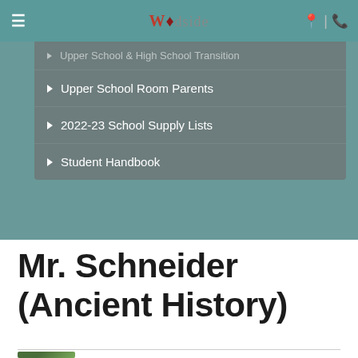Woodside — navigation bar with hamburger menu, logo, location and phone icons
Upper School & High School Transition
Upper School Room Parents
2022-23 School Supply Lists
Student Handbook
Mr. Schneider (Ancient History)
[Figure (photo): Headshot photo of Mr. Schneider, a man with dark hair and beard, smiling outdoors]